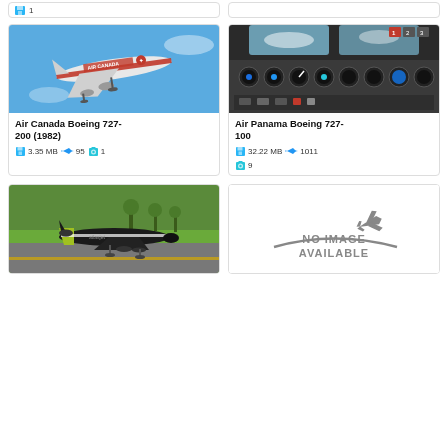[Figure (photo): Partial top strip showing bottom of two cards from previous row]
[Figure (photo): Air Canada Boeing 727-200 in red/white livery on approach against blue sky]
Air Canada Boeing 727-200 (1982)
3.35 MB  95  1
[Figure (photo): Boeing 727-100 cockpit instrument panel view]
Air Panama Boeing 727-100
32.22 MB  1011  9
[Figure (photo): Dark colored aircraft on tarmac with green grass]
[Figure (illustration): No Image Available placeholder with gray airplane silhouette]